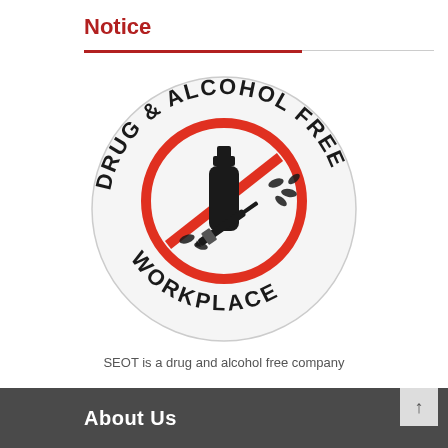Notice
[Figure (illustration): Drug and Alcohol Free Workplace circular badge/logo. A circular white badge with text 'DRUG & ALCOHOL FREE' along the top arc and 'WORKPLACE' along the bottom arc, both in bold black uppercase letters. The center shows a red prohibition circle-and-slash symbol over silhouettes of a bottle, syringe, and pills, all in dark colors.]
SEOT is a drug and alcohol free company
About Us